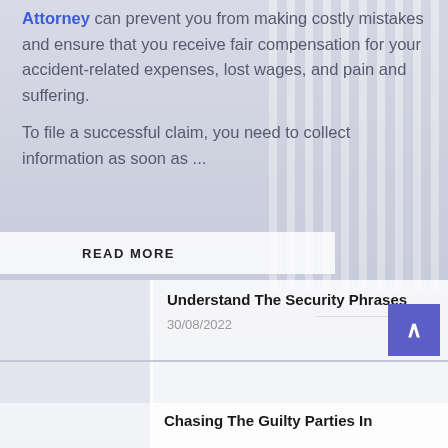Attorney can prevent you from making costly mistakes and ensure that you receive fair compensation for your accident-related expenses, lost wages, and pain and suffering.
To file a successful claim, you need to collect information as soon as ...
READ MORE
Understand The Security Phrases
30/08/2022
Chasing The Guilty Parties In